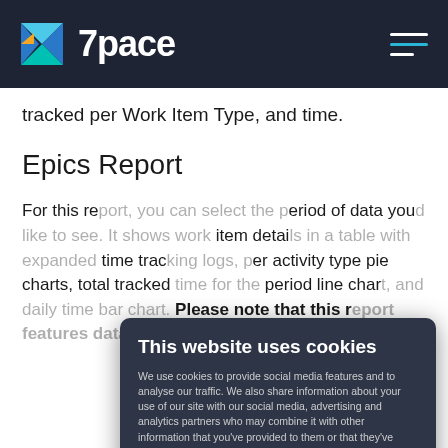7pace
tracked per Work Item Type, and time.
Epics Report
For this report, you can select the period of data you'd like to see. It shows work item details in a table with expanded time tracking logs, per activity type pie charts, total tracked time for the period line chart, and daily time bar chart. Please note that this report features data from the Epic and its children.
This website uses cookies
We use cookies to provide social media features and to analyse our traffic. We also share information about your use of our site with our social media, advertising and analytics partners who may combine it with other information that you've provided to them or that they've collected from your use of their services. It is possible to change and/or withdraw consent on the Cookie Consent page.
Allow selection | Allow all cookies
Necessary | Preferences | Statistics | Marketing | Show details